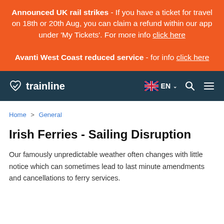Announced UK rail strikes - If you have a ticket for travel on 18th or 20th Aug, you can claim a refund within our app under 'My Tickets'. For more info click here
Avanti West Coast reduced service - for info click here
trainline | EN | Search | Menu
Home > General
Irish Ferries - Sailing Disruption
Our famously unpredictable weather often changes with little notice which can sometimes lead to last minute amendments and cancellations to ferry services.